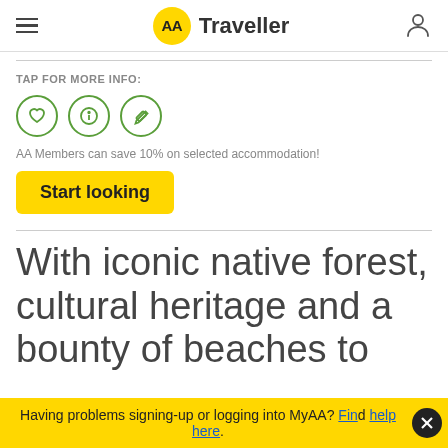AA Traveller
TAP FOR MORE INFO:
AA Members can save 10% on selected accommodation!
Start looking
With iconic native forest, cultural heritage and a bounty of beaches to
Having problems signing-up or logging into MyAA? Find help here.